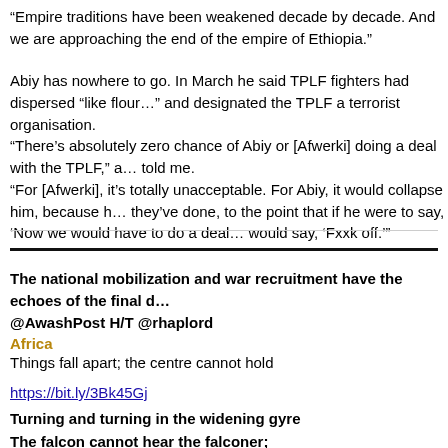“Empire traditions have been weakened decade by decade. And we are approaching the end of the empire of Ethiopia.”
Abiy has nowhere to go. In March he said TPLF fighters had dispersed “like flour” and designated the TPLF a terrorist organisation.
“There’s absolutely zero chance of Abiy or [Afwerki] doing a deal with the TPLF,” a source told me.
“For [Afwerki], it’s totally unacceptable. For Abiy, it would collapse him, because he’s said all they’ve done, to the point that if he were to say, ‘Now we would have to do a deal’ — his own supporters would say, ‘Fxxk off.’”
The national mobilization and war recruitment have the echoes of the final d... @AwashPost H/T @rhaplord
Africa
Things fall apart; the centre cannot hold
https://bit.ly/3Bk45Gj
Turning and turning in the widening gyre
The falcon cannot hear the falconer;
Things fall apart; the centre cannot hold;
Mere anarchy is loosed upon the world,
The blood-dimmed tide is loosed, and everywhere The ceremony of i...